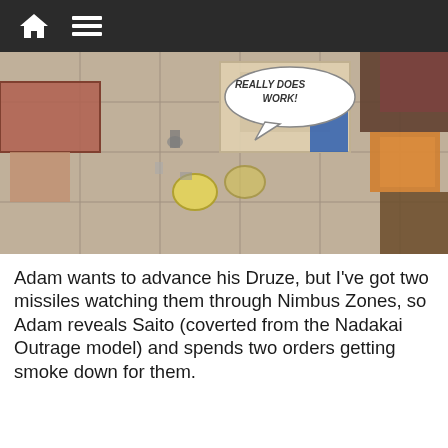Navigation bar with home and menu icons
[Figure (screenshot): Overhead view of a tabletop miniature wargame scene with cardboard terrain, tokens, and a speech bubble reading 'REALLY DOES WORK!']
Adam wants to advance his Druze, but I've got two missiles watching them through Nimbus Zones, so Adam reveals Saito (coverted from the Nadakai Outrage model) and spends two orders getting smoke down for them.
[Figure (screenshot): Overhead view of a tabletop miniature wargame scene with terrain pieces, blue and pink buildings, miniatures, and a speech bubble reading 'Smoke out!']